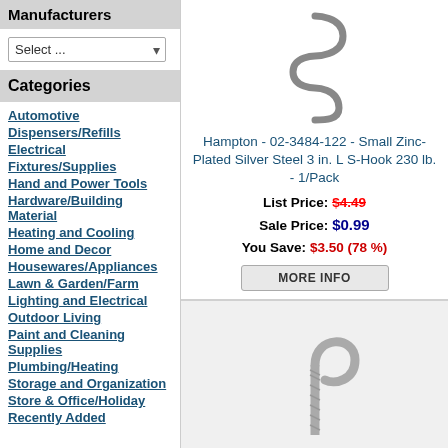Manufacturers
Select ...
Categories
Automotive
Dispensers/Refills
Electrical
Fixtures/Supplies
Hand and Power Tools
Hardware/Building Material
Heating and Cooling
Home and Decor
Housewares/Appliances
Lawn & Garden/Farm
Lighting and Electrical
Outdoor Living
Paint and Cleaning Supplies
Plumbing/Heating
Storage and Organization
Store & Office/Holiday
Recently Added
[Figure (photo): S-Hook product photo - small zinc-plated silver steel S-hook]
Hampton - 02-3484-122 - Small Zinc-Plated Silver Steel 3 in. L S-Hook 230 lb. - 1/Pack
List Price: $4.49
Sale Price: $0.99
You Save: $3.50 (78 %)
[Figure (photo): Ceiling hook product photo - small steel 5 in. L ceiling hook]
Hampton - 02-3480-156 - Small Steel 5 in. L Ceiling Hook 200 lb. - 1/Pack
List Price: $4.99
Sale Price: $0.99
You Save: $4.00 (80 %)